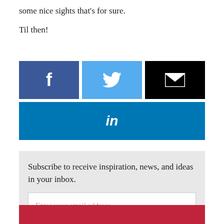some nice sights that's for sure.
Til then!
[Figure (infographic): Social sharing buttons: Facebook (blue), Twitter (light blue), Email (black), LinkedIn (blue)]
Subscribe to receive inspiration, news, and ideas in your inbox.